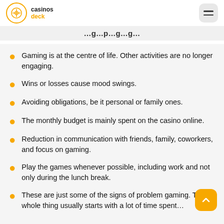casinos deck
…g…p…g…g…
Gaming is at the centre of life. Other activities are no longer engaging.
Wins or losses cause mood swings.
Avoiding obligations, be it personal or family ones.
The monthly budget is mainly spent on the casino online.
Reduction in communication with friends, family, coworkers, and focus on gaming.
Play the games whenever possible, including work and not only during the lunch break.
These are just some of the signs of problem gaming. The whole thing usually starts with a lot of time spent…